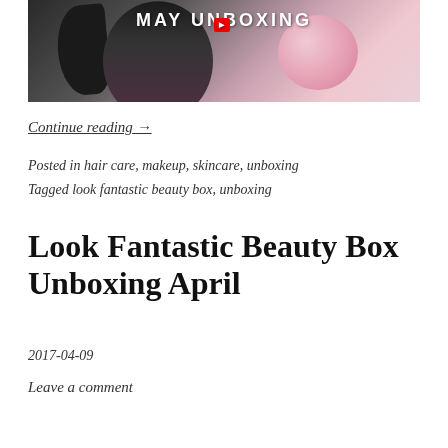[Figure (photo): Blog post hero image showing a woman with dark hair holding a pink balloon, with text 'MAY UNBOXING' overlaid and a red play button]
Continue reading →
Posted in hair care, makeup, skincare, unboxing
Tagged look fantastic beauty box, unboxing
Look Fantastic Beauty Box Unboxing April
2017-04-09
Leave a comment